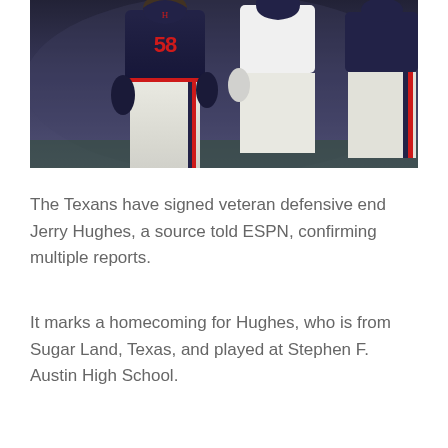[Figure (photo): NFL players in Houston Texans uniforms on the field, including player wearing jersey number 58, with a Carolina Panthers player visible in the background]
The Texans have signed veteran defensive end Jerry Hughes, a source told ESPN, confirming multiple reports.
It marks a homecoming for Hughes, who is from Sugar Land, Texas, and played at Stephen F. Austin High School.